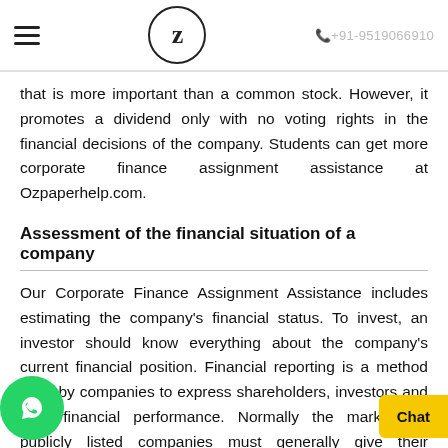≡  Z  +91-9519066910
that is more important than a common stock. However, it promotes a dividend only with no voting rights in the financial decisions of the company. Students can get more corporate finance assignment assistance at Ozpaperhelp.com.
Assessment of the financial situation of a company
Our Corporate Finance Assignment Assistance includes estimating the company's financial status. To invest, an investor should know everything about the company's current financial position. Financial reporting is a method used by companies to express shareholders, investors and their financial performance. Normally the market. All publicly listed companies must generally give their quarterly or annual financial statements according to acceptable accounting principles. According to